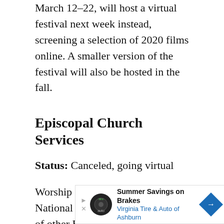March 12-22, will host a virtual festival next week instead, screening a selection of 2020 films online. A smaller version of the festival will also be hosted in the fall.
Episcopal Church Services
Status: Canceled, going virtual
Worship services at Washington National Cathedral and hundreds of other Episcopal churches in the area are canceled. Leaders hope to start having services again on March 29. Until then, viewers can watch virtual
[Figure (other): Advertisement banner: Summer Savings on Brakes — Virginia Tire & Auto of Ashburn]